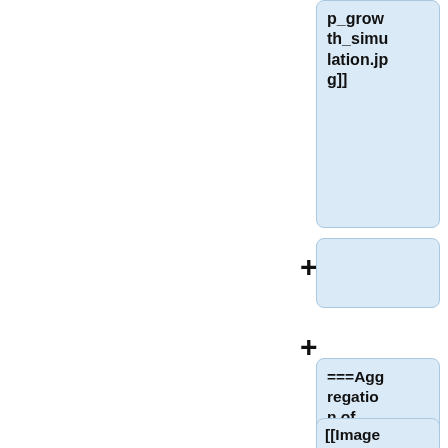[Figure (flowchart): A vertical flowchart showing wiki-markup style nodes. Top node contains 'p_growth_simulation.jpg]]', followed by a '+' connector node, then a node with '===Aggregation of simulated yield to administrative (level 3)===', followed by another '+' connector, and a partial bottom node showing '[[Image:flowchart_agg...']
p_growth_simulation.jpg]]
+
===Aggregation of simulated yield to administrative (level 3)===
+
[[Image:flowchart_agg